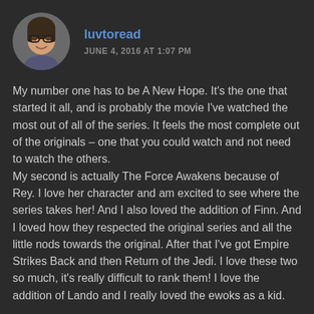[Figure (photo): Circular avatar photo of a woman wearing glasses, smiling]
luvtoread
JUNE 4, 2016 AT 1:07 PM
My number one has to be A New Hope. It's the one that started it all, and is probably the movie I've watched the most out of all of the series. It feels the most complete out of the originals – one that you could watch and not need to watch the others.
My second is actually The Force Awakens because of Rey. I love her character and am excited to see where the series takes her! And I also loved the addition of Finn. And I loved how they respected the original series and all the little nods towards the original. After that I've got Empire Strikes Back and then Return of the Jedi. I love these two so much, it's really difficult to rank them! I love the addition of Lando and I really loved the ewoks as a kid.